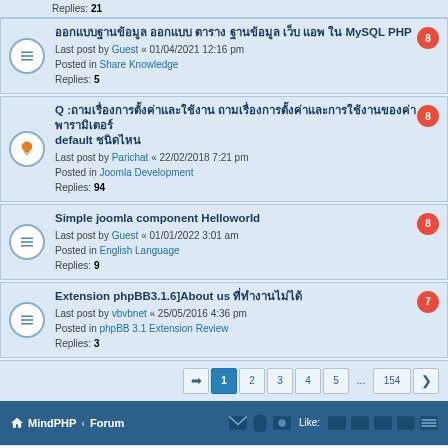Replies: 21
ออกแบบฐานข้อมูล ออกแบบ ตาราง ฐานข้อมูล เว็บ แอพ ใน MySQL PHP — Last post by Guest « 01/04/2021 12:16 pm — Posted in Share Knowledge — Replies: 5 — badge: 8
Q :ถามเรื่องการตั้งค่าและใช้งาน ถามเรื่องการตั้งค่าและการใช้งานของค่าพารามิเตอร์ default ชนิดไหน — Last post by Parichat « 22/02/2018 7:21 pm — Posted in Joomla Development — Replies: 94 — badge: 8
Simple joomla component Helloworld — Last post by Guest « 01/01/2022 3:01 am — Posted in English Language — Replies: 9 — badge: 8
Extension phpBB3.1.6]About us ที่ทำงานไม่ได้ — Last post by vbvbnet « 25/05/2016 4:36 pm — Posted in phpBB 3.1 Extension Review — Replies: 3 — badge: 7
Pagination: 1 2 3 4 5 ... 154
MindPHP · Forum — Like icons
Powered by phpBB® Forum Software © phpBB Limited
Thai language by Mindphp.com & phpBBThailand.com
Privacy | Terms
Time: 0.091s | Peak Memory Usage: 1.9 MiB | GZIP: Off | Load: 6.44